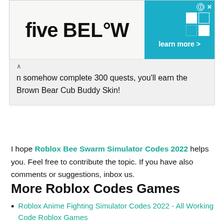[Figure (other): Five Below advertisement banner with logo on left and blue 'learn more >' button on right with info and close icons]
n somehow complete 300 quests, you'll earn the Brown Bear Cub Buddy Skin!
I hope Roblox Bee Swarm Simulator Codes 2022 helps you. Feel free to contribute the topic. If you have also comments or suggestions, inbox us.
More Roblox Codes Games
Roblox Anime Fighting Simulator Codes 2022 - All Working Code Roblox Games
Roblox Anime Mania Codes 2022 - All Working Code Roblox Games